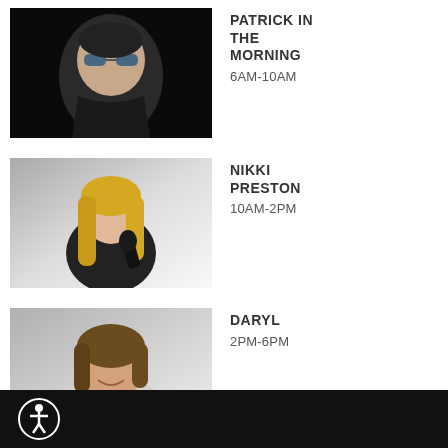[Figure (photo): Photo of Patrick, a man wearing sunglasses and a black t-shirt against a black background]
PATRICK IN THE MORNING
6AM-10AM
[Figure (photo): Photo of Nikki Preston, a blonde woman holding a microphone against a grey/white gradient background]
NIKKI PRESTON
10AM-2PM
[Figure (photo): Photo of Daryl, a man with medium-length hair smiling, wearing a grey t-shirt against a light grey background]
DARYL
2PM-6PM
[Figure (illustration): Accessibility icon (person in circle) on black footer bar]